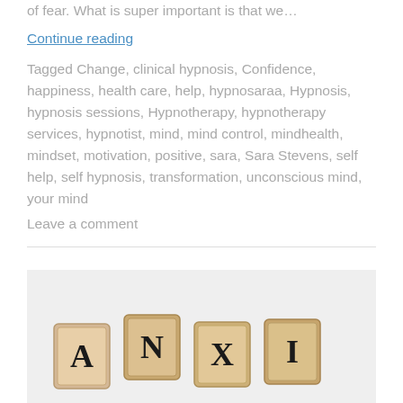of fear. What is super important is that we…
Continue reading
Tagged Change, clinical hypnosis, Confidence, happiness, health care, help, hypnosaraa, Hypnosis, hypnosis sessions, Hypnotherapy, hypnotherapy services, hypnotist, mind, mind control, mindhealth, mindset, motivation, positive, sara, Sara Stevens, self help, self hypnosis, transformation, unconscious mind, your mind
Leave a comment
[Figure (photo): Scrabble tiles spelling out a word beginning with 'A', 'N', 'X', 'I' visible on a light background]